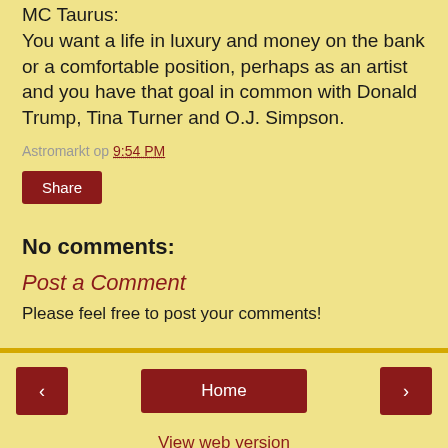MC Taurus:
You want a life in luxury and money on the bank or a comfortable position, perhaps as an artist and you have that goal in common with Donald Trump, Tina Turner and O.J. Simpson.
Astromarkt op 9:54 PM
Share
No comments:
Post a Comment
Please feel free to post your comments!
‹
Home
›
View web version
Powered by Blogger.